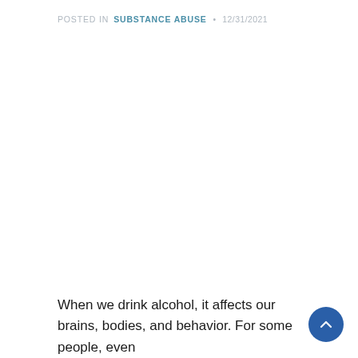POSTED IN SUBSTANCE ABUSE • 12/31/2021
[Figure (photo): Large image area, appears blank/white in this crop]
When we drink alcohol, it affects our brains, bodies, and behavior. For some people, even